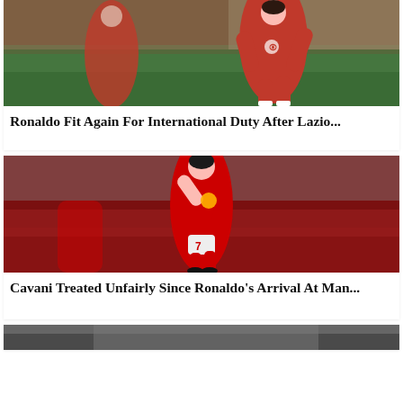[Figure (photo): Soccer player in red Portugal national team kit running on a field]
Ronaldo Fit Again For International Duty After Lazio...
[Figure (photo): Soccer player in red Manchester United kit number 7 on a pitch]
Cavani Treated Unfairly Since Ronaldo's Arrival At Man...
[Figure (photo): Partial view of a third article image at the bottom of the page]